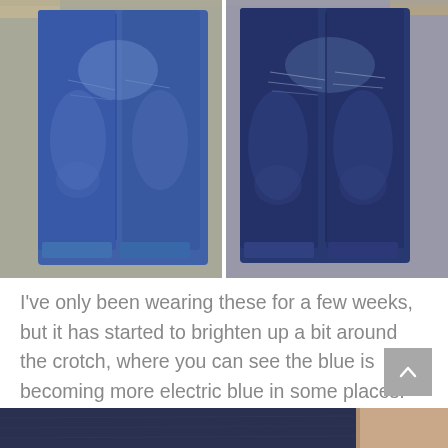[Figure (photo): Two pairs of dark blue jeans laid flat, side by side. Left pair shows front view with lighter worn areas around crotch/thighs. Right pair shows front view with more pronounced fading and whisker marks on the thighs. Both have cuffed hems. Background is grey fabric.]
I've only been wearing these for a few weeks, but it has started to brighten up a bit around the crotch, where you can see the blue is becoming more electric blue in some places.
[Figure (photo): Close-up photo of dark indigo denim fabric texture, partially visible with a hand or skin visible at the right edge.]